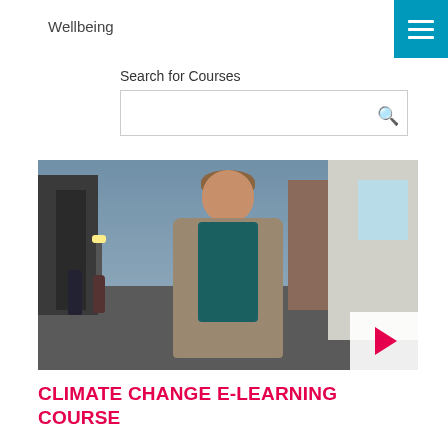Wellbeing
Search for Courses
[Figure (screenshot): Video thumbnail showing a man in a puffer jacket and turtleneck standing on a busy street with a play button overlay in the bottom right corner]
CLIMATE CHANGE E-LEARNING COURSE